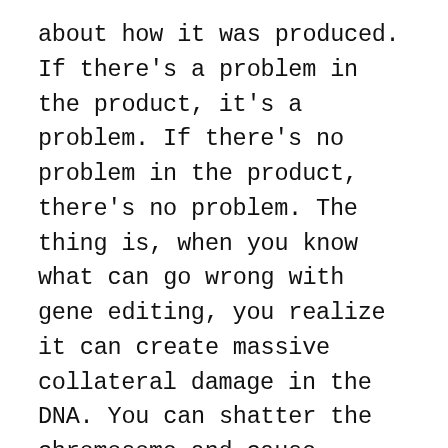about how it was produced. If there's a problem in the product, it's a problem. If there's no problem in the product, there's no problem. The thing is, when you know what can go wrong with gene editing, you realize it can create massive collateral damage in the DNA. You can shatter the chromosome and cause random rearrangements. You can cause big deletions and additions, non-target cuts. You can have DNA, random DNA from bacteria or other animals in the Petri dish, stuffed in and combined with the DNA of the organism you're creating. All of that can happen. You can have—even in the process of cloning that cell into a plant-massive, widespread collateral damage,